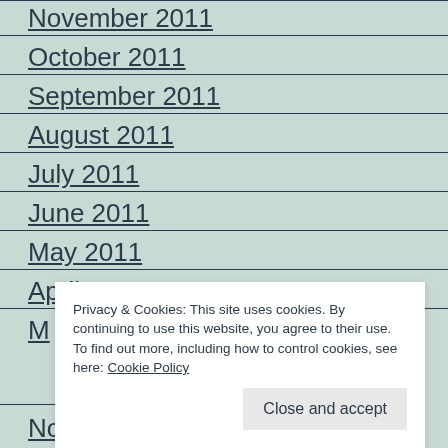November 2011
October 2011
September 2011
August 2011
July 2011
June 2011
May 2011
April 2011
M... (partially visible)
P... (partially visible)
... (partially visible)
D... (partially visible)
November 2010
Privacy & Cookies: This site uses cookies. By continuing to use this website, you agree to their use. To find out more, including how to control cookies, see here: Cookie Policy
Close and accept